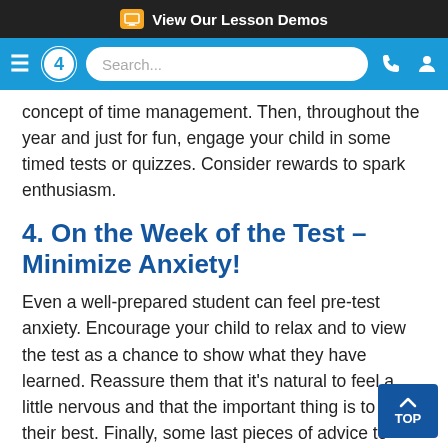View Our Lesson Demos
concept of time management. Then, throughout the year and just for fun, engage your child in some timed tests or quizzes. Consider rewards to spark enthusiasm.
4. On the Week of the Test – Minimize Anxiety!
Even a well-prepared student can feel pre-test anxiety. Encourage your child to relax and to view the test as a chance to show what they have learned. Reassure them that it's natural to feel a little nervous and that the important thing is to try their best. Finally, some last pieces of advice to make everyone in the family feel fully prepared for the testing experience: